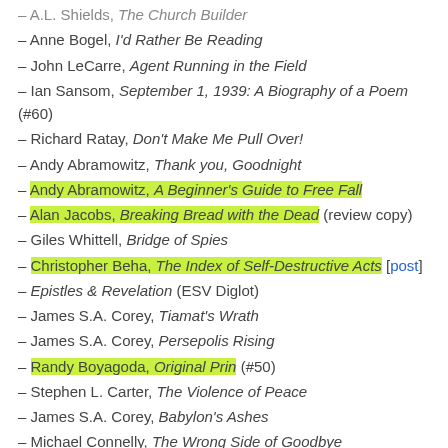A.L. Shields, The Church Builder
Anne Bogel, I'd Rather Be Reading
John LeCarre, Agent Running in the Field
Ian Sansom, September 1, 1939: A Biography of a Poem (#60)
Richard Ratay, Don't Make Me Pull Over!
Andy Abramowitz, Thank you, Goodnight
Andy Abramowitz, A Beginner's Guide to Free Fall [highlighted]
Alan Jacobs, Breaking Bread with the Dead (review copy) [highlighted]
Giles Whittell, Bridge of Spies
Christopher Beha, The Index of Self-Destructive Acts [post] [highlighted]
Epistles & Revelation (ESV Diglot)
James S.A. Corey, Tiamat's Wrath
James S.A. Corey, Persepolis Rising
Randy Boyagoda, Original Prin (#50) [highlighted]
Stephen L. Carter, The Violence of Peace
James S.A. Corey, Babylon's Ashes
Michael Connelly, The Wrong Side of Goodbye
James S.A. Corey, Nemesis Games